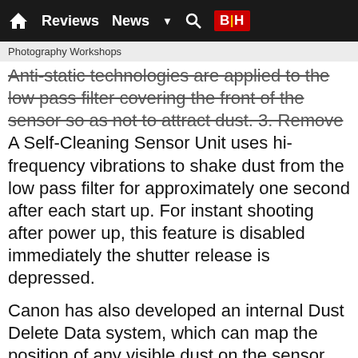Reviews  News  ▼  🔍  B|H
Photography Workshops
Anti-static technologies are applied to the low pass filter covering the front of the sensor so as not to attract dust. 3. Remove
A Self-Cleaning Sensor Unit uses hi-frequency vibrations to shake dust from the low pass filter for approximately one second after each start up. For instant shooting after power up, this feature is disabled immediately the shutter release is depressed.
Canon has also developed an internal Dust Delete Data system, which can map the position of any visible dust on the sensor. This can then be deleted automatically after the shoot with the latest Digital Photo Professional software.